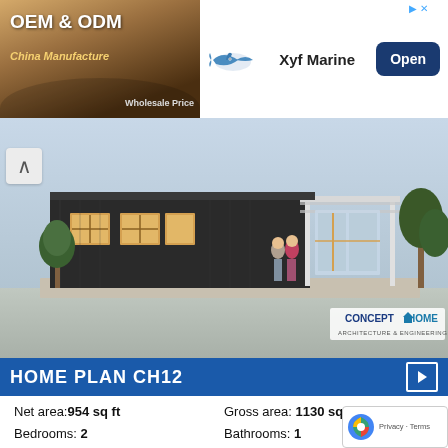[Figure (infographic): Advertisement banner: Left side shows wood/luxury car product photo with text 'OEM & ODM' and 'China Manufacture' and 'Wholesale Price'. Right side shows Xyf Marine brand with shark logo and 'Open' button.]
[Figure (photo): 3D rendering of a modern single-story home plan CH12 with dark exterior siding, large windows with wood frames, a covered patio/pergola area, two people standing outside, and trees in background. ConceptHome Architecture & Engineering logo in lower right.]
HOME PLAN CH12
Net area: 954 sq ft   Gross area: 1130 sq ft
Bedrooms: 2   Bathrooms: 1
Floors: 1   Height: 12' 10"
Width: 17' 9"   Depth: 62' 4"
Affordable Home to narrow lot. Good choice for vacation or second home. Two bedrooms, one bathroom.